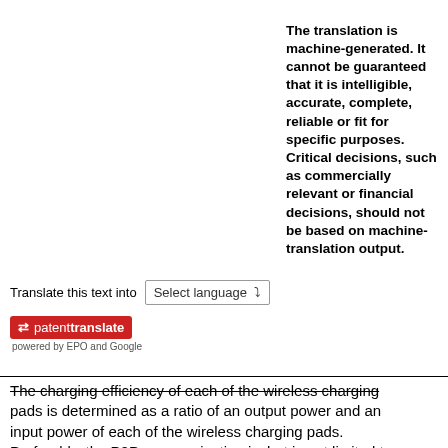The translation is machine-generated. It cannot be guaranteed that it is intelligible, accurate, complete, reliable or fit for specific purposes. Critical decisions, such as commercially relevant or financial decisions, should not be based on machine-translation output.
Translate this text into  Select language ▾
[Figure (logo): Patent Translate logo — red badge with arrow icon and 'patenttranslate' text, subtext 'powered by EPO and Google']
The charging efficiency of each of the wireless charging pads is determined as a ratio of an output power and an input power of each of the wireless charging pads. Preferably, the P2P communication is, but is not limited to, based on a ZigBee communication type. The P2P communication may be also based on an IrDA type, a